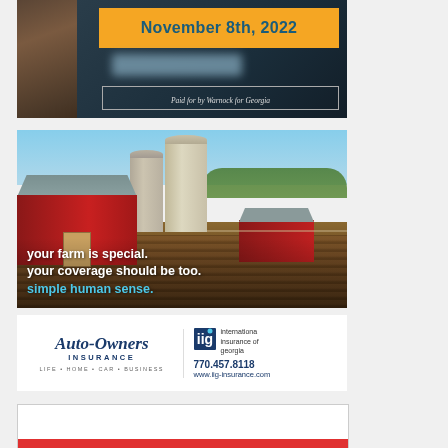[Figure (photo): Political advertisement showing a man's portrait on dark background with orange banner reading 'November 8th, 2022' and disclaimer text 'Paid for by Warnock for Georgia']
[Figure (photo): Farm insurance advertisement showing red barn and grain silos with text overlays: 'your farm is special. your coverage should be too. simple human sense.']
your farm is special. your coverage should be too. simple human sense.
[Figure (logo): Auto-Owners Insurance logo with tagline 'LIFE + HOME + CAR + BUSINESS' and IIG (International Insurance of Georgia) logo with phone 770.457.8118 and website www.iig-insurance.com]